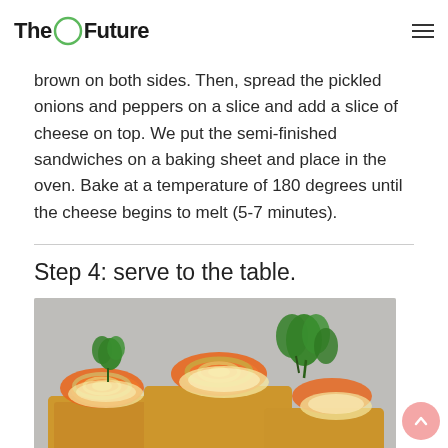The Future
brown on both sides. Then, spread the pickled onions and peppers on a slice and add a slice of cheese on top. We put the semi-finished sandwiches on a baking sheet and place in the oven. Bake at a temperature of 180 degrees until the cheese begins to melt (5-7 minutes).
Step 4: serve to the table.
[Figure (photo): Three open-faced sandwiches on toasted bread topped with pickled onions, roasted orange peppers, melted cheese, and garnished with fresh parsley. Orange pepper strips and mint leaves visible in foreground.]